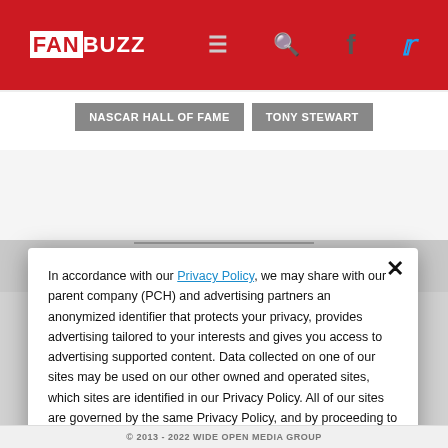FAN BUZZ
NASCAR Hall of Fame
Tony Stewart
STORIES YOU MIGHT LIKE
In accordance with our Privacy Policy, we may share with our parent company (PCH) and advertising partners an anonymized identifier that protects your privacy, provides advertising tailored to your interests and gives you access to advertising supported content. Data collected on one of our sites may be used on our other owned and operated sites, which sites are identified in our Privacy Policy. All of our sites are governed by the same Privacy Policy, and by proceeding to access this site, you are consenting to that Privacy Policy.
© 2013 - 2022 WIDE OPEN MEDIA GROUP